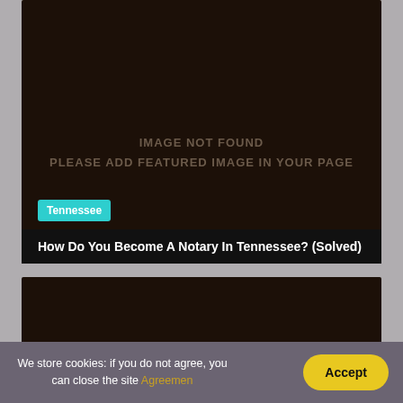[Figure (photo): Dark brown placeholder image with 'IMAGE NOT FOUND / PLEASE ADD FEATURED IMAGE IN YOUR PAGE' text overlay]
Tennessee
How Do You Become A Notary In Tennessee? (Solved)
[Figure (photo): Second dark brown placeholder image card]
We store cookies: if you do not agree, you can close the site Agreemen
Accept